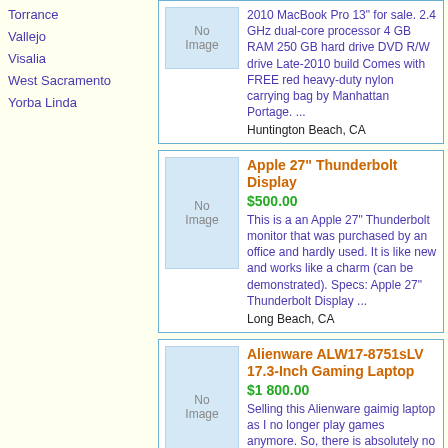Torrance
Vallejo
Visalia
West Sacramento
Yorba Linda
2010 MacBook Pro 13" for sale. 2.4 GHz dual-core processor 4 GB RAM 250 GB hard drive DVD R/W drive Late-2010 build Comes with FREE red heavy-duty nylon carrying bag by Manhattan Portage. ...
Huntington Beach, CA
Apple 27" Thunderbolt Display
$500.00
This is a an Apple 27" Thunderbolt monitor that was purchased by an office and hardly used. It is like new and works like a charm (can be demonstrated). Specs: Apple 27" Thunderbolt Display ...
Long Beach, CA
Alienware ALW17-8751sLV 17.3-Inch Gaming Laptop
$1 800.00
Selling this Alienware gaimig laptop as I no longer play games anymore. So, there is absolutely no point of keeping such masterpiece just for web surfing and movies. Features: Model: ...
San Francisco, CA